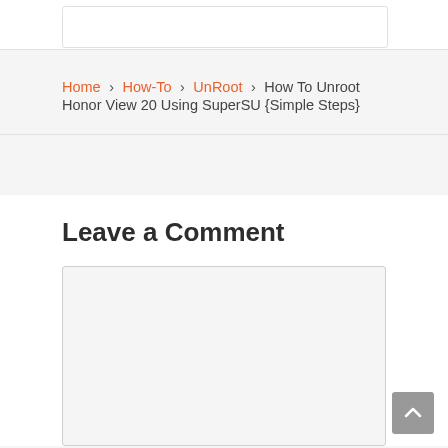Home › How-To › UnRoot › How To Unroot Honor View 20 Using SuperSU {Simple Steps}
Leave a Comment